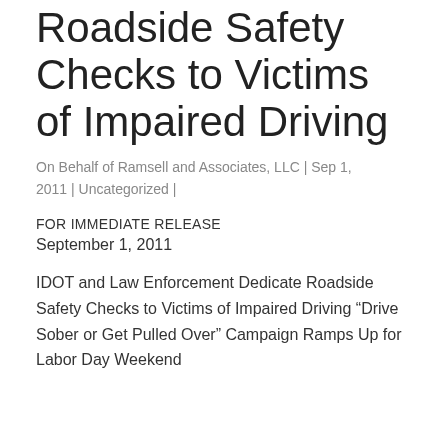Roadside Safety Checks to Victims of Impaired Driving
On Behalf of Ramsell and Associates, LLC | Sep 1, 2011 | Uncategorized |
FOR IMMEDIATE RELEASE
September 1, 2011
IDOT and Law Enforcement Dedicate Roadside Safety Checks to Victims of Impaired Driving “Drive Sober or Get Pulled Over” Campaign Ramps Up for Labor Day Weekend